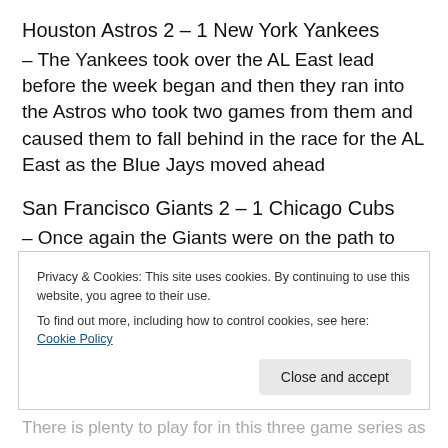Houston Astros 2 – 1 New York Yankees
– The Yankees took over the AL East lead before the week began and then they ran into the Astros who took two games from them and caused them to fall behind in the race for the AL East as the Blue Jays moved ahead
San Francisco Giants 2 – 1 Chicago Cubs
– Once again the Giants were on the path to trying to find their way into the postseason and took on one of the two wild card teams to get their as they beat the Cubs in a
Privacy & Cookies: This site uses cookies. By continuing to use this website, you agree to their use.
To find out more, including how to control cookies, see here: Cookie Policy
There is plenty to play for in this three game series as